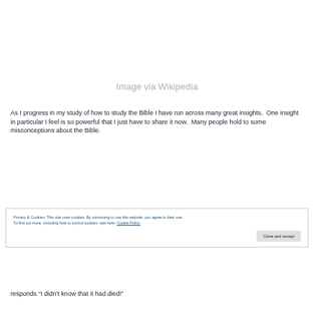Image via Wikipedia
As I progress in my study of how to study the Bible I have run across many great insights.  One insight in particular I feel is so powerful that I just have to share it now.  Many people hold to some misconceptions about the Bible.
Privacy & Cookies: This site uses cookies. By continuing to use this website, you agree to their use.
To find out more, including how to control cookies, see here: Cookie Policy
Close and accept
responds “I didn’t know that it had died!”